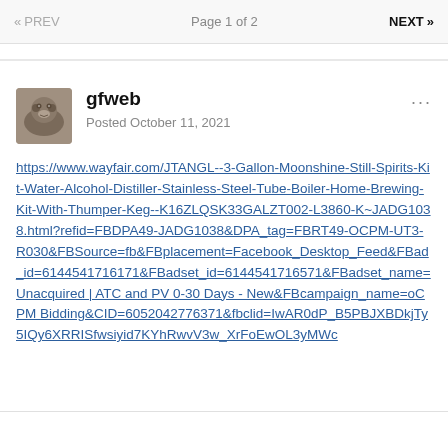PREV  Page 1 of 2  NEXT
gfweb
Posted October 11, 2021
https://www.wayfair.com/JTANGL--3-Gallon-Moonshine-Still-Spirits-Kit-Water-Alcohol-Distiller-Stainless-Steel-Tube-Boiler-Home-Brewing-Kit-With-Thumper-Keg--K16ZLQSK33GALZT002-L3860-K~JADG1038.html?refid=FBDPA49-JADG1038&DPA_tag=FBRT49-OCPM-UT3-R030&FBSource=fb&FBplacement=Facebook_Desktop_Feed&FBad_id=6144541716171&FBadset_id=6144541716571&FBadset_name=Unacquired | ATC and PV 0-30 Days - New&FBcampaign_name=oCPM Bidding&CID=6052042776371&fbclid=IwAR0dP_B5PBJXBDkjTy5IQy6XRRISfwsiyid7KYhRwvV3w_XrFoEwOL3yMWc